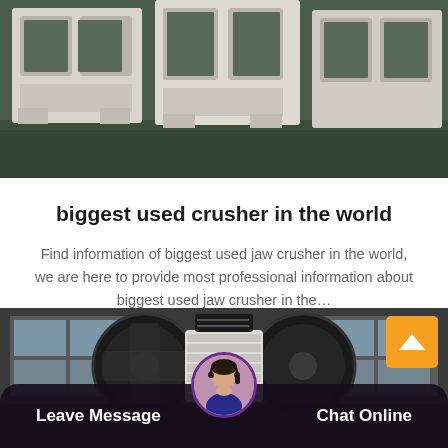[Figure (photo): Industrial jaw crusher machine parts — white/cream colored heavy metal frame components in a factory/warehouse setting, viewed from close up angle.]
biggest used crusher in the world
Find information of biggest used jaw crusher in the world, we are here to provide most professional information about biggest used jaw crusher in the…
Release Time : 07-28
[Figure (photo): Industrial heavy-duty crusher machine with large black flywheels and a ribbed roller component, inside a factory building.]
Leave Message
Chat Online